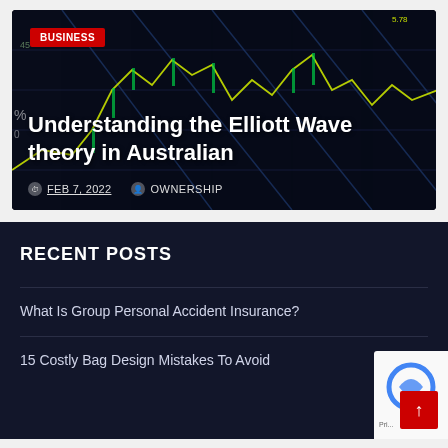[Figure (screenshot): Dark financial chart/stock market data background with yellow/green candlestick lines on dark blue grid]
BUSINESS
Understanding the Elliott Wave theory in Australian
FEB 7, 2022   OWNERSHIP
RECENT POSTS
What Is Group Personal Accident Insurance?
15 Costly Bag Design Mistakes To Avoid